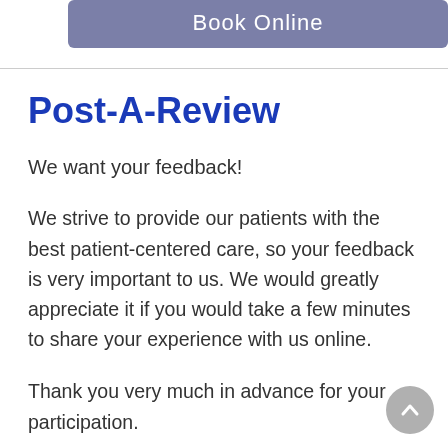Book Online
Post-A-Review
We want your feedback!
We strive to provide our patients with the best patient-centered care, so your feedback is very important to us. We would greatly appreciate it if you would take a few minutes to share your experience with us online.
Thank you very much in advance for your participation.